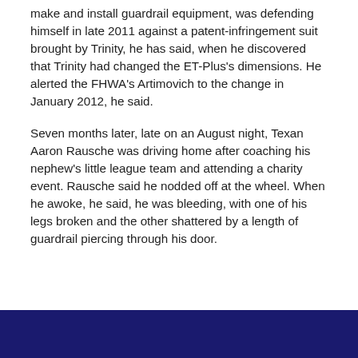make and install guardrail equipment, was defending himself in late 2011 against a patent-infringement suit brought by Trinity, he has said, when he discovered that Trinity had changed the ET-Plus's dimensions. He alerted the FHWA's Artimovich to the change in January 2012, he said.
Seven months later, late on an August night, Texan Aaron Rausche was driving home after coaching his nephew's little league team and attending a charity event. Rausche said he nodded off at the wheel. When he awoke, he said, he was bleeding, with one of his legs broken and the other shattered by a length of guardrail piercing through his door.